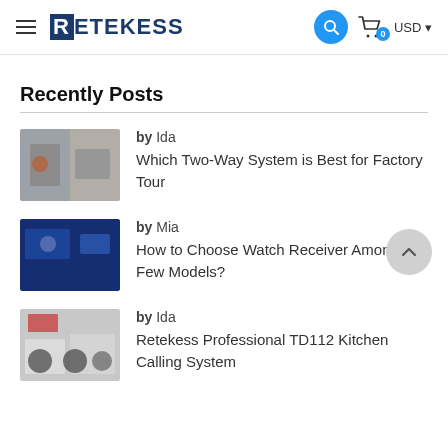RETEKESS — navigation header with hamburger menu, search button, cart icon with badge 0, USD currency selector
Recently Posts
by Ida — Which Two-Way System is Best for Factory Tour
by Mia — How to Choose Watch Receiver Among Few Models?
by Ida — Retekess Professional TD112 Kitchen Calling System